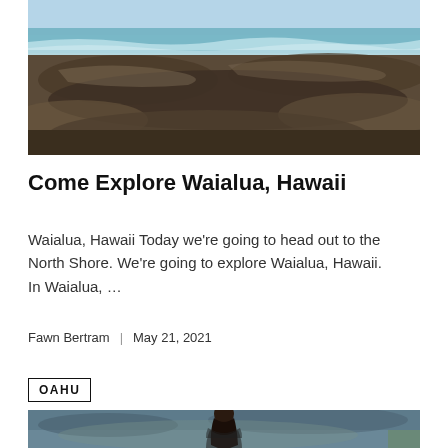[Figure (photo): Coastal rocky shoreline with turquoise ocean waves and blue sky, panoramic landscape photo of Waialua Hawaii North Shore]
Come Explore Waialua, Hawaii
Waialua, Hawaii Today we're going to head out to the North Shore. We're going to explore Waialua, Hawaii. In Waialua, …
Fawn Bertram | May 21, 2021
OAHU
[Figure (photo): Person standing on rocky coastal area with ocean and landscape in background, Oahu Hawaii]